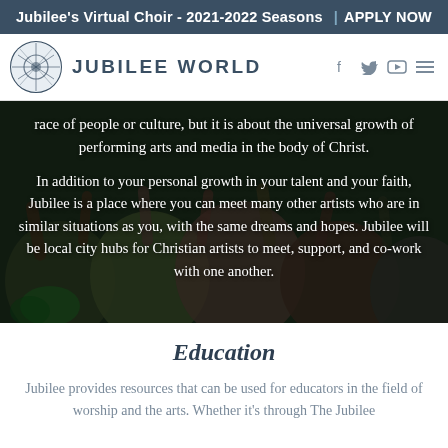Jubilee's Virtual Choir - 2021-2022 Seasons  |  APPLY NOW
[Figure (logo): Jubilee World logo with circular geometric icon and text JUBILEE WORLD, plus social media icons (Facebook, Twitter, YouTube, menu)]
[Figure (photo): Background photo of people at a worship/performance event with hands raised, overlaid with white text about performing arts and Christian community]
race of people or culture, but it is about the universal growth of performing arts and media in the body of Christ.
In addition to your personal growth in your talent and your faith, Jubilee is a place where you can meet many other artists who are in similar situations as you, with the same dreams and hopes. Jubilee will be local city hubs for Christian artists to meet, support, and co-work with one another.
Education
Jubilee provides resources that can be used for educators in the field of worship and the arts. Whether it's through The Jubilee